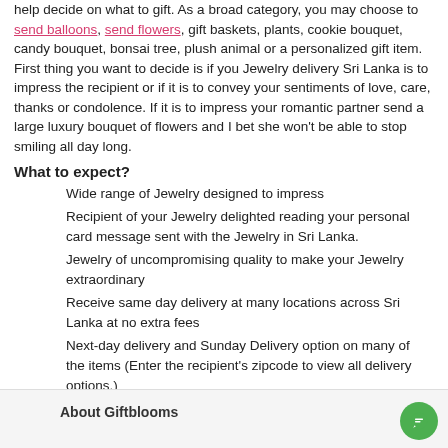help decide on what to gift. As a broad category, you may choose to send balloons, send flowers, gift baskets, plants, cookie bouquet, candy bouquet, bonsai tree, plush animal or a personalized gift item. First thing you want to decide is if you Jewelry delivery Sri Lanka is to impress the recipient or if it is to convey your sentiments of love, care, thanks or condolence. If it is to impress your romantic partner send a large luxury bouquet of flowers and I bet she won't be able to stop smiling all day long.
What to expect?
Wide range of Jewelry designed to impress
Recipient of your Jewelry delighted reading your personal card message sent with the Jewelry in Sri Lanka.
Jewelry of uncompromising quality to make your Jewelry extraordinary
Receive same day delivery at many locations across Sri Lanka at no extra fees
Next-day delivery and Sunday Delivery option on many of the items (Enter the recipient's zipcode to view all delivery options.)
You may also like :
Gifts Police Nad Metuji | Birthday Gifts Shirosatomachi | Gifts Comuna Copsa Mica | Gifts Digras | Gifts Pitoes Das Junias
Last Updated Monday March 7th 2022
About Giftblooms